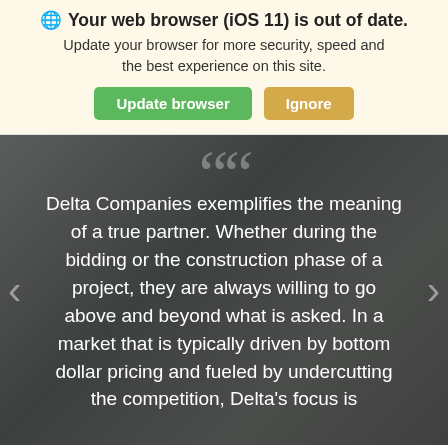🌐 Your web browser (iOS 11) is out of date. Update your browser for more security, speed and the best experience on this site.
Update browser | Ignore
[Figure (screenshot): Dark chalkboard-textured background with large quotation marks at top and white body text: 'Delta Companies exemplifies the meaning of a true partner. Whether during the bidding or the construction phase of a project, they are always willing to go above and beyond what is asked. In a market that is typically driven by bottom dollar pricing and fueled by undercutting the competition, Delta's focus is' (truncated). Left and right navigation arrows visible.]